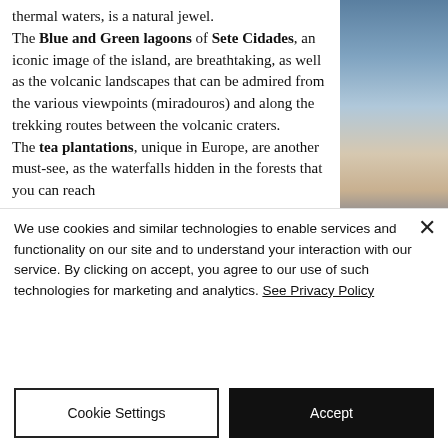thermal waters, is a natural jewel. The Blue and Green lagoons of Sete Cidades, an iconic image of the island, are breathtaking, as well as the volcanic landscapes that can be admired from the various viewpoints (miradouros) and along the trekking routes between the volcanic craters. The tea plantations, unique in Europe, are another must-see, as the waterfalls hidden in the forests that you can reach
[Figure (photo): Sunset sky with clouds over the ocean, photographed from the Azores. Gradient from blue sky at top to warm orange-pink clouds near the horizon.]
We use cookies and similar technologies to enable services and functionality on our site and to understand your interaction with our service. By clicking on accept, you agree to our use of such technologies for marketing and analytics. See Privacy Policy